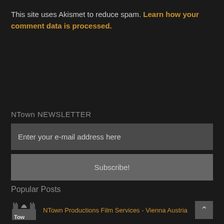This site uses Akismet to reduce spam. Learn how your comment data is processed.
NTown NEWSLETTER
Enter your e-mail address here
Subscribe!
Popular Posts
NTown Productions Film Services - Vienna Austria